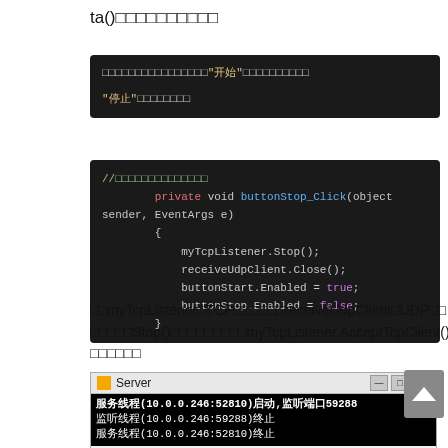ta()□□□□□□□□□□
[Figure (screenshot): Dark code block showing Chinese text about '开始' button click handler explanation]
[Figure (screenshot): Dark code block showing C# code: private void buttonStop_Click(object sender, EventArgs e) with myTcpListener.Stop(), receiveUdpClient.Close(), buttonStart.Enabled = true, buttonStop.Enabled = false]
□□myTcpListener□TCP□□□□□□receiveUdpClient□UDP□□□□□□□Stop()□□□□□□□□□□myTcpListener.AcceptTcpClient()□□□□□□
[Figure (screenshot): Server window showing console output: 服务线程(10.0.0.246:52810)启动,监听端口59288 / 监听线程(10.0.0.246:59288)终止 / 服务线程(10.0.0.246:52810)终止]